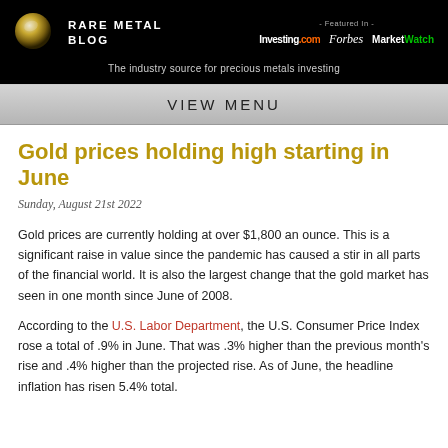RARE METAL BLOG — The industry source for precious metals investing — Featured in: Investing.com Forbes MarketWatch
VIEW MENU
Gold prices holding high starting in June
Sunday, August 21st 2022
Gold prices are currently holding at over $1,800 an ounce. This is a significant raise in value since the pandemic has caused a stir in all parts of the financial world. It is also the largest change that the gold market has seen in one month since June of 2008.
According to the U.S. Labor Department, the U.S. Consumer Price Index rose a total of .9% in June. That was .3% higher than the previous month's rise and .4% higher than the projected rise. As of June, the headline inflation has risen 5.4% total.